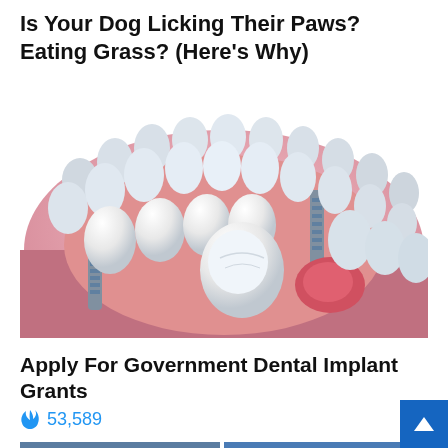Is Your Dog Licking Their Paws? Eating Grass? (Here's Why)
[Figure (illustration): 3D medical illustration of dental implants showing teeth, gums, and implant screws inserted into jawbone tissue]
Apply For Government Dental Implant Grants
🔥 53,589
[Figure (photo): Two side-by-side portrait photos of politicians, one with dark hair in front of an American flag, one with white/blonde hair in front of a blue background]